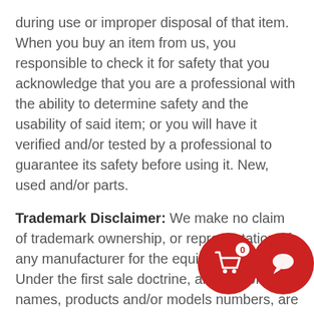during use or improper disposal of that item. When you buy an item from us, you responsible to check it for safety that you acknowledge that you are a professional with the ability to determine safety and the usability of said item; or you will have it verified and/or tested by a professional to guarantee its safety before using it. New, used and/or parts.
Trademark Disclaimer: We make no claim of trademark ownership, or representation of any manufacturer for the equipment we sell. Under the first sale doctrine, any use of names, products and/or models numbers, are for mere depiction and identification of said item (s); but not to make any false representation, and or to infringe on any of the manufacturers' name and/or products. The majority of our equipment are from government agencies such as the military, VA medical facilities and public university healthcare facilities), for most of which
[Figure (other): UI overlay: red circular shopping cart button with badge showing '0', and red circular chat/message button]